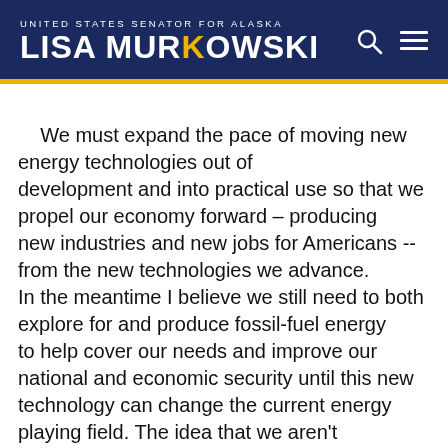UNITED STATES SENATOR FOR ALASKA — LISA MURKOWSKI
We must expand the pace of moving new energy technologies out of development and into practical use so that we propel our economy forward – producing new industries and new jobs for Americans -- from the new technologies we advance. In the meantime I believe we still need to both explore for and produce fossil-fuel energy to help cover our needs and improve our national and economic security until this new technology can change the current energy playing field. The idea that we aren't "weaning ourselves" off oil, simply because we